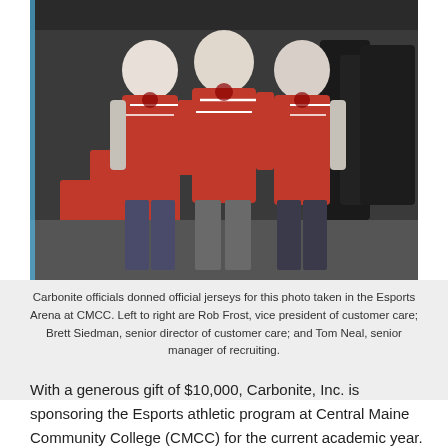[Figure (photo): Three people wearing red and black Esports jerseys standing in an Esports Arena. Gaming chairs and equipment visible in the background.]
Carbonite officials donned official jerseys for this photo taken in the Esports Arena at CMCC. Left to right are Rob Frost, vice president of customer care; Brett Siedman, senior director of customer care; and Tom Neal, senior manager of recruiting.
With a generous gift of $10,000, Carbonite, Inc. is sponsoring the Esports athletic program at Central Maine Community College (CMCC) for the current academic year.
“Carbonite’s Lewiston office has a culture of dedicated gamers and great respect for the value that CMCC offers our community,” said Tom Neal, senior manager of recruiting at Carbonite. “So when we